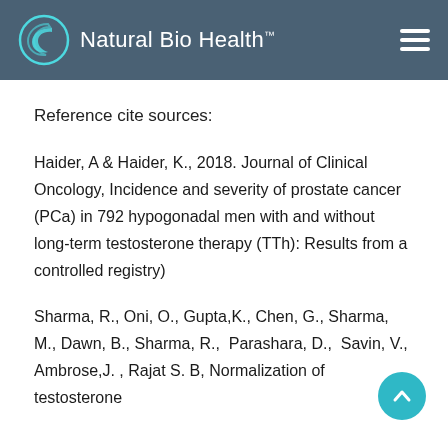Natural Bio Health™
Reference cite sources:
Haider, A & Haider, K., 2018. Journal of Clinical Oncology, Incidence and severity of prostate cancer (PCa) in 792 hypogonadal men with and without long-term testosterone therapy (TTh): Results from a controlled registry)
Sharma, R., Oni, O., Gupta,K., Chen, G., Sharma, M., Dawn, B., Sharma, R.,  Parashara, D.,  Savin, V., Ambrose,J. , Rajat S. B, Normalization of testosterone